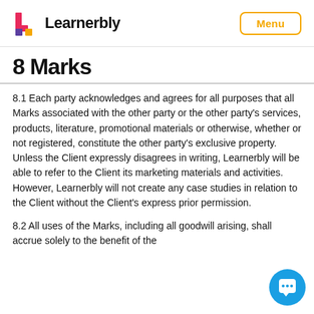Learnerbly — Menu
8 Marks
8.1 Each party acknowledges and agrees for all purposes that all Marks associated with the other party or the other party's services, products, literature, promotional materials or otherwise, whether or not registered, constitute the other party's exclusive property. Unless the Client expressly disagrees in writing, Learnerbly will be able to refer to the Client its marketing materials and activities. However, Learnerbly will not create any case studies in relation to the Client without the Client's express prior permission.
8.2 All uses of the Marks, including all goodwill arising, shall accrue solely to the benefit of the